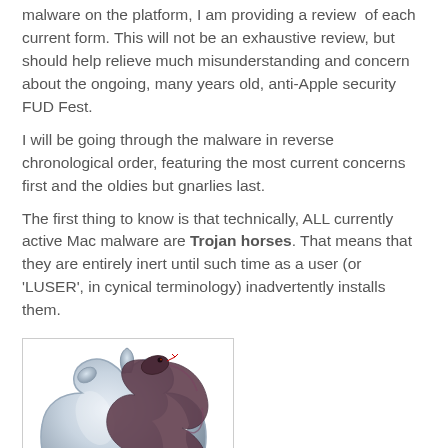malware on the platform, I am providing a review of each current form. This will not be an exhaustive review, but should help relieve much misunderstanding and concern about the ongoing, many years old, anti-Apple security FUD Fest.
I will be going through the malware in reverse chronological order, featuring the most current concerns first and the oldies but gnarlies last.
The first thing to know is that technically, ALL currently active Mac malware are Trojan horses. That means that they are entirely inert until such time as a user (or 'LUSER', in cynical terminology) inadvertently installs them.
[Figure (illustration): Apple logo (silver/glass style) with a snake or serpent coiled around it, on a white background with a light gray border.]